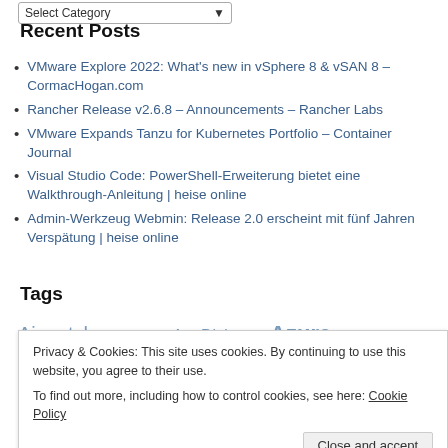[Figure (other): Select Category dropdown widget]
Recent Posts
VMware Explore 2022: What's new in vSphere 8 & vSAN 8 – CormacHogan.com
Rancher Release v2.6.8 – Announcements – Rancher Labs
VMware Expands Tanzu for Kubernetes Portfolio – Container Journal
Visual Studio Code: PowerShell-Erweiterung bietet eine Walkthrough-Anleitung | heise online
Admin-Werkzeug Webmin: Release 2.0 erscheint mit fünf Jahren Verspätung | heise online
Tags
Airwatch Android App-V AppDisk Apple Azure BigData BlackBerry Container DevOps Docker Hadoop HomeLab Horizon HyperConverged iOS 10 IoT Kubernetes MAS Monitoring Nagios Nano Server Netscaler Norskale NSX Octoblu Pentaho permxdata
Privacy & Cookies: This site uses cookies. By continuing to use this website, you agree to their use.
To find out more, including how to control cookies, see here: Cookie Policy
Close and accept